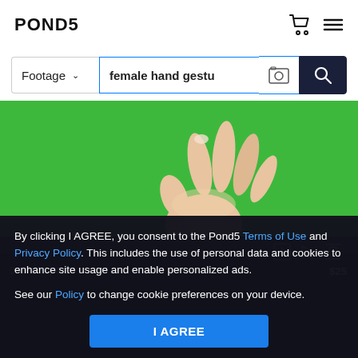POND5
female hand gestu
[Figure (photo): Female hand making a gesture against a green screen background]
By clicking I AGREE, you consent to the Pond5 Terms of Use and Privacy Policy. This includes the use of personal data and cookies to enhance site usage and enable personalized ads. See our Policy to change cookie preferences on your device.
I AGREE